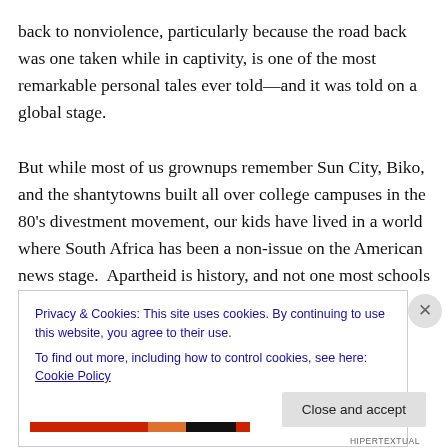back to nonviolence, particularly because the road back was one taken while in captivity, is one of the most remarkable personal tales ever told—and it was told on a global stage.

But while most of us grownups remember Sun City, Biko, and the shantytowns built all over college campuses in the 80's divestment movement, our kids have lived in a world where South Africa has been a non-issue on the American news stage.  Apartheid is history, and not one most schools teach to elementary and middle schoolers.  So on
Privacy & Cookies: This site uses cookies. By continuing to use this website, you agree to their use.
To find out more, including how to control cookies, see here: Cookie Policy